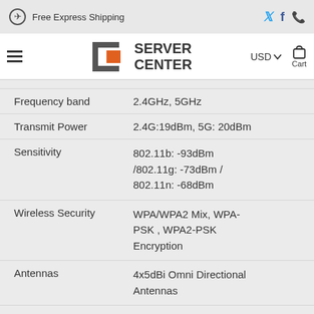Free Express Shipping
[Figure (logo): Server Center logo with orange bracket and gray text]
| Property | Value |
| --- | --- |
| Frequency band | 2.4GHz, 5GHz |
| Transmit Power | 2.4G:19dBm, 5G: 20dBm |
| Sensitivity | 802.11b: -93dBm /802.11g: -73dBm / 802.11n: -68dBm |
| Wireless Security | WPA/WPA2 Mix, WPA-PSK , WPA2-PSK Encryption |
| Antennas | 4x5dBi Omni Directional Antennas |
| Distance | Outdoors 100Meters (According to the actual environment change) |